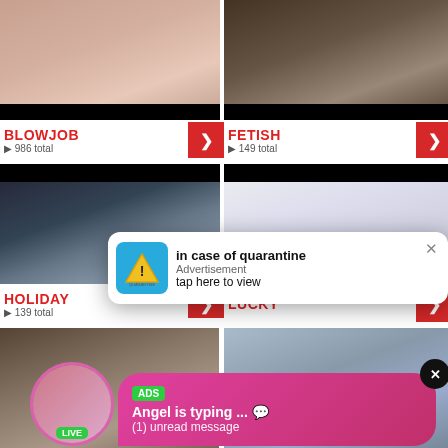[Figure (screenshot): Adult video website category grid showing thumbnails and category labels. Top row: BLOWJOB (986 total) and FETISH (149 total). Middle row: HOLIDAY (139 total) and LUCKY. Bottom row partial. Two overlaid advertisements: a quarantine ad popup and a chat/messaging ad popup.]
BLOWJOB
986 total
FETISH
149 total
HOLIDAY
139 total
LUCKY
in case of quarantine
Advertisement
tap here to view
ADS
Angel is typing ... 💬
(1) unread message
LIVE